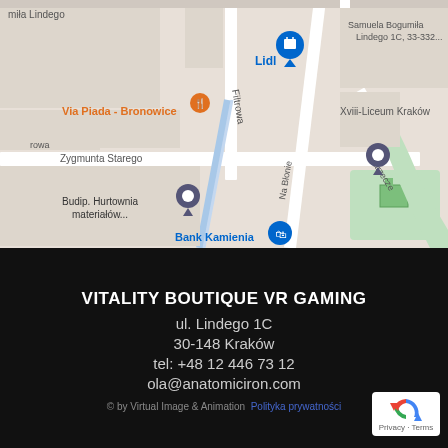[Figure (map): Google Maps screenshot showing Bronowice area of Kraków, Poland, with landmarks including Lidl, Via Piada - Bronowice, Xviii-Liceum Kraków, Budip. Hurtownia materiałów..., Bank Kamienia, streets Filtrowa, Zygmunta Starego, Na Błonie, Zarzecze, and Samuela Bogumiła Lindego 1C, 33-332...]
VITALITY BOUTIQUE VR GAMING
ul. Lindego 1C
30-148 Kraków
tel: +48 12 446 73 12
ola@anatomiciron.com
© by Virtual Image & Animation  Polityka prywatności